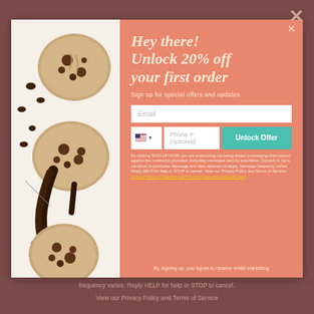[Figure (screenshot): Website popup modal with cookie/bakery discount offer. Left side shows photo of chocolate chip cookies with melted chocolate. Right side has salmon/coral background with promotional text, email input, phone input, and unlock offer button.]
Hey there! Unlock 20% off your first order
Sign up for special offers and updates
Email
Phone # (optional)
Unlock Offer
By clicking SIGN UP NOW, you are authorizing me being texted (messaging information) against the number(s) provided, including messages sent by autodialer. Consent is not a condition to purchase. Message and data rates/terms apply. Message frequency varies. Reply HELP for help or STOP to cancel. View our Privacy Policy and Terms of Service. Link our Terms of Service and Privacy Policy and data with start
By signing up, you agree to receive email marketing
frequency varies. Reply HELP for help or STOP to cancel.
View our Privacy Policy and Terms of Service